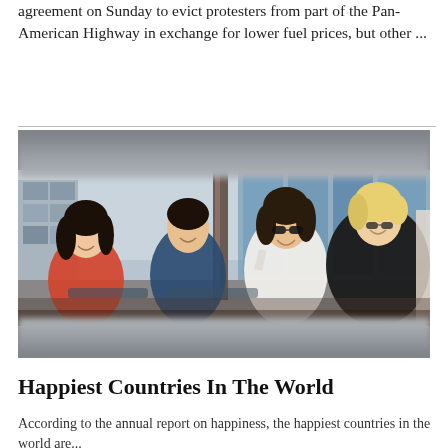agreement on Sunday to evict protesters from part of the Pan-American Highway in exchange for lower fuel prices, but other ...
[Figure (photo): Group of four young adults sitting outdoors on a rooftop or terrace, laughing and socializing. A woman in a red top on the left, a man in a blue shirt in the center-left, a woman in a white off-shoulder top in the center, and a blonde woman in a black top on the right. Urban building with large windows in background.]
Happiest Countries In The World
According to the annual report on happiness, the happiest countries in the world are...